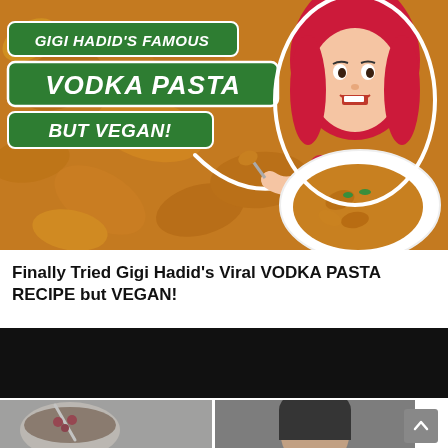[Figure (photo): Thumbnail image for a YouTube video showing 'Gigi Hadid's Famous Vodka Pasta but Vegan!' with green badge text overlaid on pasta background, a woman with red hair eating pasta, and a plate of orange pasta in the bottom right corner. A curved white arrow points to the plate.]
Finally Tried Gigi Hadid's Viral VODKA PASTA RECIPE but VEGAN!
[Figure (screenshot): Black video player bar at the bottom of the page]
[Figure (photo): Bottom-left partial photo showing a bowl with food and a spoon on a grey background]
[Figure (photo): Bottom-right partial photo showing a person with dark hair]